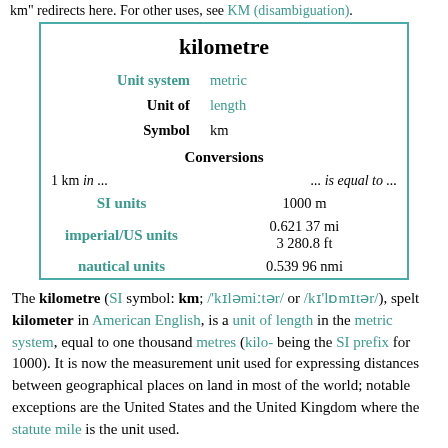km" redirects here. For other uses, see KM (disambiguation).
| kilometre |  |
| Unit system | metric |
| Unit of | length |
| Symbol | km |
| Conversions |  |
| 1 km in ... | ... is equal to ... |
| SI units | 1000 m |
| imperial/US units | 0.621 37 mi
3 280.8 ft |
| nautical units | 0.539 96 nmi |
The kilometre (SI symbol: km; /ˈkɪləmiːtər/ or /kɪˈlɒmɪtər/), spelt kilometer in American English, is a unit of length in the metric system, equal to one thousand metres (kilo- being the SI prefix for 1000). It is now the measurement unit used for expressing distances between geographical places on land in most of the world; notable exceptions are the United States and the United Kingdom where the statute mile is the unit used.
The abbreviations k or K (pronounced /keɪ/) are commonly used